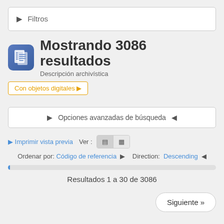▶  Filtros
Mostrando 3086 resultados
Descripción archivística
Con objetos digitales ▶
▶  Opciones avanzadas de búsqueda  ◀
▶ Imprimir vista previa   Ver :
Ordenar por:  Código de referencia  ▶   Direction:  Descending  ◀
Resultados 1 a 30 de 3086
Siguiente »